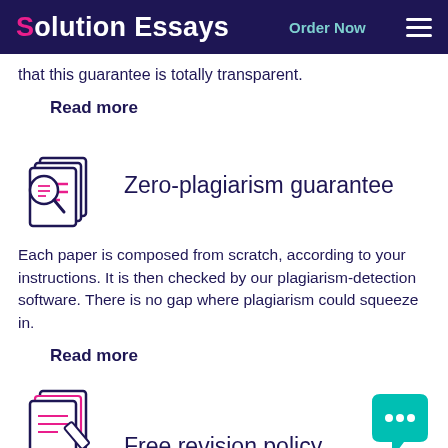Solution Essays  Order Now
that this guarantee is totally transparent.
Read more
[Figure (illustration): Icon of documents with a magnifying glass containing red lines, representing plagiarism checking]
Zero-plagiarism guarantee
Each paper is composed from scratch, according to your instructions. It is then checked by our plagiarism-detection software. There is no gap where plagiarism could squeeze in.
Read more
[Figure (illustration): Icon of documents with a pencil, representing revision policy]
Free revision policy
[Figure (illustration): Teal chat bubble with three dots (ellipsis) indicating a chat widget]